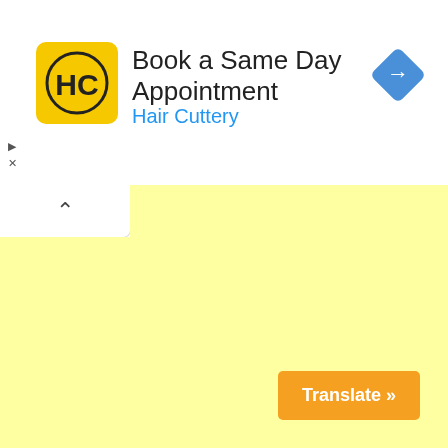[Figure (logo): Hair Cuttery logo: yellow square with HC monogram in black circle]
Book a Same Day Appointment
Hair Cuttery
[Figure (logo): Blue diamond navigation arrow icon]
[Figure (infographic): Light yellow content area with collapse chevron tab in upper left]
Translate »